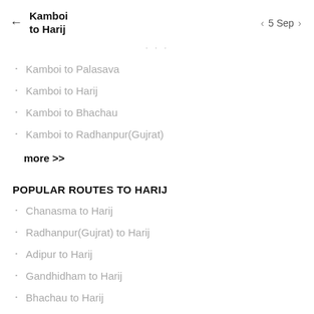Kamboi to Harij | 5 Sep
Kamboi to Palasava
Kamboi to Harij
Kamboi to Bhachau
Kamboi to Radhanpur(Gujrat)
more >>
POPULAR ROUTES TO HARIJ
Chanasma to Harij
Radhanpur(Gujrat) to Harij
Adipur to Harij
Gandhidham to Harij
Bhachau to Harij